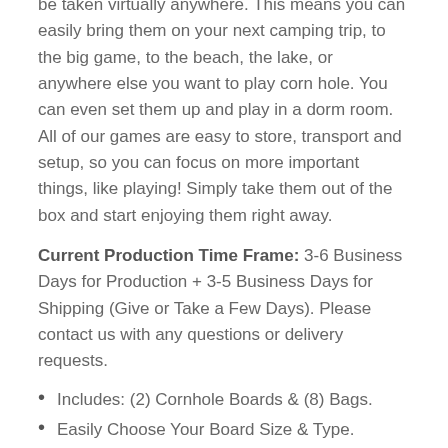be taken virtually anywhere. This means you can easily bring them on your next camping trip, to the big game, to the beach, the lake, or anywhere else you want to play corn hole. You can even set them up and play in a dorm room. All of our games are easy to store, transport and setup, so you can focus on more important things, like playing! Simply take them out of the box and start enjoying them right away.
Current Production Time Frame: 3-6 Business Days for Production + 3-5 Business Days for Shipping (Give or Take a Few Days). Please contact us with any questions or delivery requests.
Includes: (2) Cornhole Boards & (8) Bags.
Easily Choose Your Board Size & Type.
Select Corn Filled or All Weather Bags.
Bags Will Complement The Board Colors.